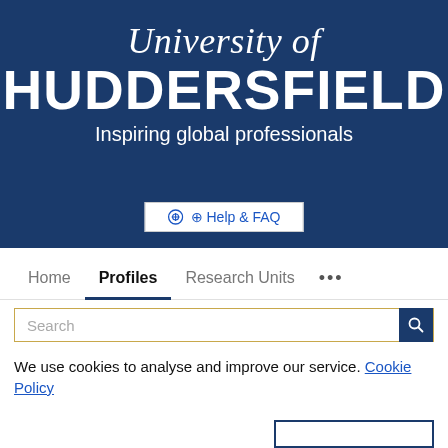[Figure (logo): University of Huddersfield logo on dark blue background with text 'University of HUDDERSFIELD Inspiring global professionals']
⊕ Help & FAQ
Home   Profiles   Research Units   ...
Search
We use cookies to analyse and improve our service. Cookie Policy